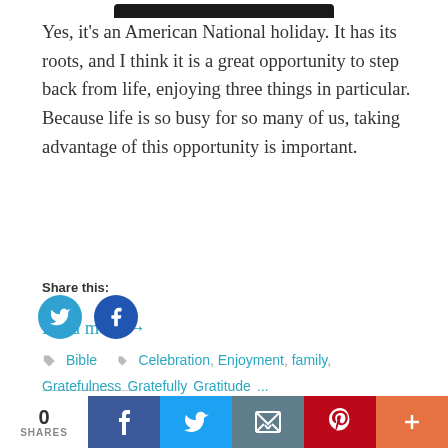[Figure (screenshot): Partial dark/black image bar at top of page]
Yes, it's an American National holiday. It has its roots, and I think it is a great opportunity to step back from life, enjoying three things in particular. Because life is so busy for so many of us, taking advantage of this opportunity is important.
Read more →
Share this:
[Figure (logo): Twitter share icon (blue circle with white bird)]
[Figure (logo): Facebook share icon (blue circle with white f)]
Bible    Celebration, Enjoyment, family,
0 SHARES | Facebook | Twitter | Email | Pinterest | More